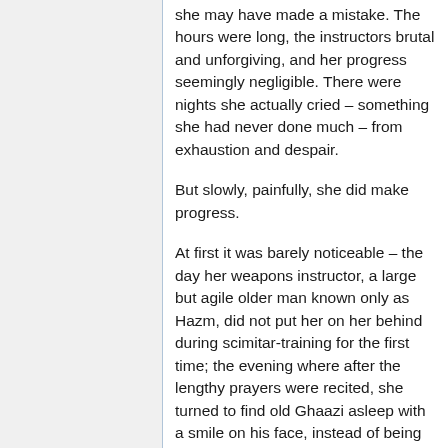For the next several years, she felt like she may have made a mistake. The hours were long, the instructors brutal and unforgiving, and her progress seemingly negligible. There were nights she actually cried – something she had never done much – from exhaustion and despair.
But slowly, painfully, she did make progress.
At first it was barely noticeable – the day her weapons instructor, a large but agile older man known only as Hazm, did not put her on her behind during scimitar-training for the first time; the evening where after the lengthy prayers were recited, she turned to find old Ghaazi asleep with a smile on his face, instead of being cut off before the end due to a mistake; and the day she got some tea